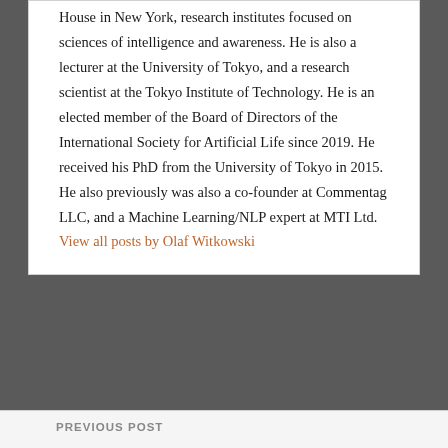House in New York, research institutes focused on sciences of intelligence and awareness. He is also a lecturer at the University of Tokyo, and a research scientist at the Tokyo Institute of Technology. He is an elected member of the Board of Directors of the International Society for Artificial Life since 2019. He received his PhD from the University of Tokyo in 2015. He also previously was also a co-founder at Commentag LLC, and a Machine Learning/NLP expert at MTI Ltd. View all posts by Olaf Witkowski
PREVIOUS POST